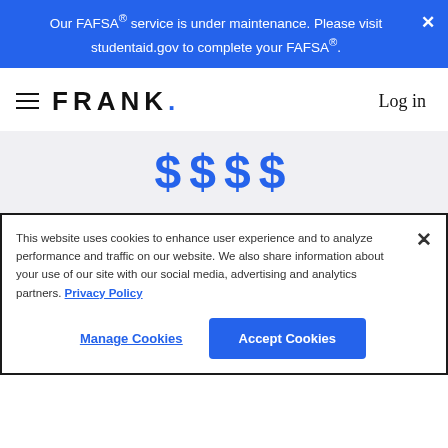Our FAFSA® service is under maintenance. Please visit studentaid.gov to complete your FAFSA®.
[Figure (logo): FRANK. logo with hamburger menu on left and Log in on right]
$$$$
This website uses cookies to enhance user experience and to analyze performance and traffic on our website. We also share information about your use of our site with our social media, advertising and analytics partners. Privacy Policy
Manage Cookies | Accept Cookies